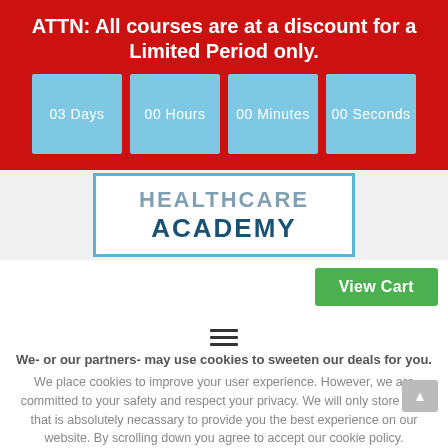ATTN: All courses are at a discount for a Limited Period only.
[Figure (infographic): Countdown timer boxes showing 03 Days, 00 Hours, 00 Minutes, 00 Seconds in light blue on red background]
[Figure (logo): Healthcare Academy logo with blue border, text HEALTHCARE ACADEMY in dark blue]
[Figure (other): Green View Cart button]
[Figure (other): Hamburger menu icon (three horizontal lines)]
We- or our partners- may use cookies to sweeten our deals for you.
We place cookies to improve your user experience. However, we are committed to your safety and respect your privacy. We will only store data that is absolutely necassary to provide you the best experience on our website. By scrolling down you agree to accept our cookie policy.
ALL COURSES